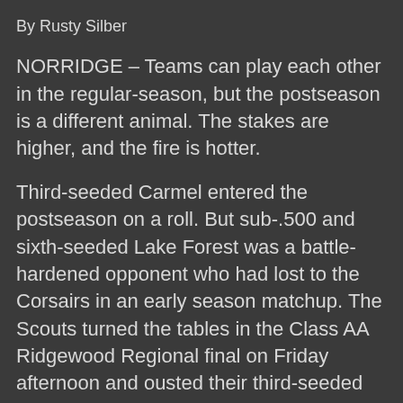By Rusty Silber
NORRIDGE – Teams can play each other in the regular-season, but the postseason is a different animal. The stakes are higher, and the fire is hotter.
Third-seeded Carmel entered the postseason on a roll. But sub-.500 and sixth-seeded Lake Forest was a battle-hardened opponent who had lost to the Corsairs in an early season matchup. The Scouts turned the tables in the Class AA Ridgewood Regional final on Friday afternoon and ousted their third-seeded foe 2-0.